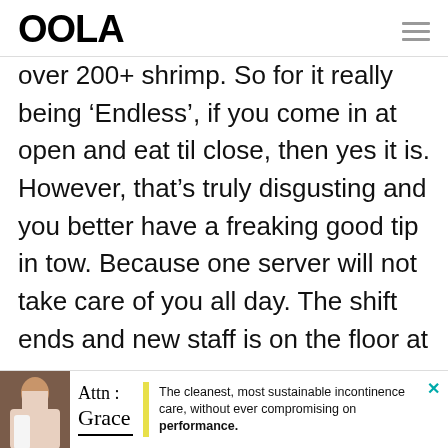OOLA
over 200+ shrimp. So for it really being ‘Endless’, if you come in at open and eat til close, then yes it is. However, that’s truly disgusting and you better have a freaking good tip in tow. Because one server will not take care of you all day. The shift ends and new staff is on the floor at
[Figure (infographic): Advertisement banner for Attn: Grace incontinence care products. Shows a person, the Attn: Grace logo, a yellow vertical bar, and text reading 'The cleanest, most sustainable incontinence care, without ever compromising on performance.' with a close button.]